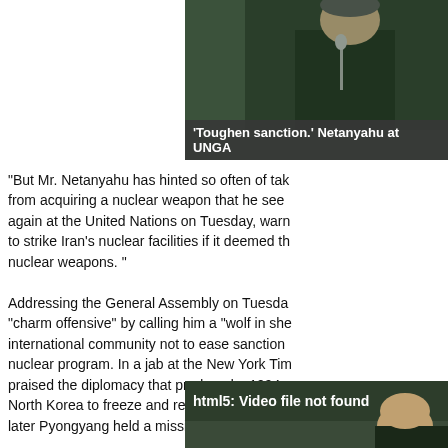[Figure (photo): Person in suit with blue tie at podium, dark background - Netanyahu at UNGA]
'Toughen sanction.' Netanyahu at UNGA
"But Mr. Netanyahu has hinted so often of taking military action to prevent Iran from acquiring a nuclear weapon that he seemed to be doing so again at the United Nations on Tuesday, warning Israel was prepared to strike Iran's nuclear facilities if it deemed that Iran was close to nuclear weapons. "
Addressing the General Assembly on Tuesday, he attacked Iran's new president's "charm offensive" by calling him a "wolf in sheep's clothing" and urged the international community not to ease sanctions on Iran in exchange for talks on its nuclear program. In a jab at the New York Times editorial board, which praised the diplomacy that produced a 1994 agreement that was supposed to get North Korea to freeze and replace its nuclear reactors, he noted that five years later Pyongyang held a missile test.
[Figure (screenshot): Video player showing html5: Video file not found message with partial image of Netanyahu]